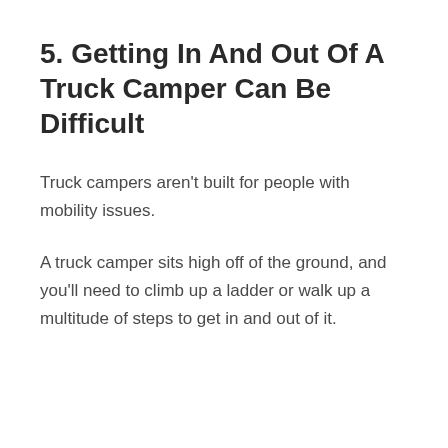5. Getting In And Out Of A Truck Camper Can Be Difficult
Truck campers aren't built for people with mobility issues.
A truck camper sits high off of the ground, and you'll need to climb up a ladder or walk up a multitude of steps to get in and out of it.